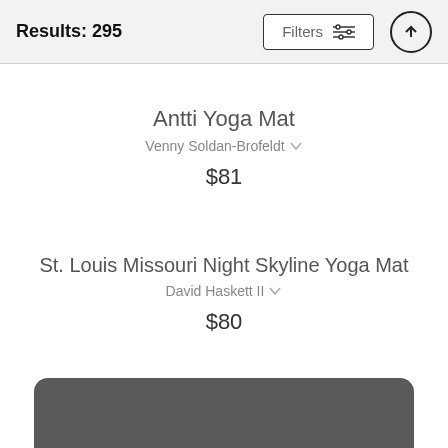Results: 295
Antti Yoga Mat
Venny Soldan-Brofeldt
$81
St. Louis Missouri Night Skyline Yoga Mat
David Haskett II
$80
[Figure (other): Dark gray rounded rectangle card partially visible at bottom of page]